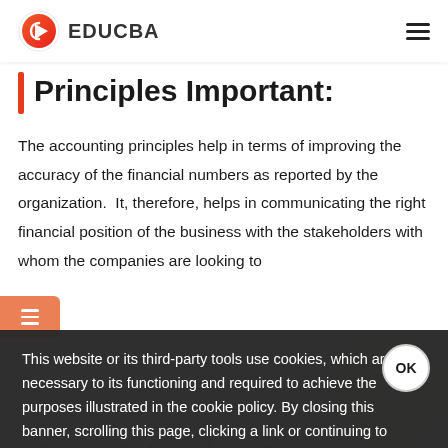EDUCBA
Principles Important:
The accounting principles help in terms of improving the accuracy of the financial numbers as reported by the organization.  It, therefore, helps in communicating the right financial position of the business with the stakeholders with whom the companies are looking to collaborate and grow their business. They help in the p...  ...erefore, it could be... for... framework, which the business follows he...
This website or its third-party tools use cookies, which are necessary to its functioning and required to achieve the purposes illustrated in the cookie policy. By closing this banner, scrolling this page, clicking a link or continuing to browse otherwise, you agree to our Privacy Policy
numbers and such a framework was named a...